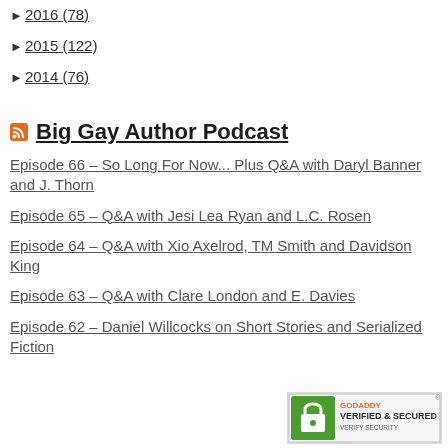► 2016 (78)
► 2015 (122)
► 2014 (76)
Big Gay Author Podcast
Episode 66 – So Long For Now... Plus Q&A with Daryl Banner and J. Thorn
Episode 65 – Q&A with Jesi Lea Ryan and L.C. Rosen
Episode 64 – Q&A with Xio Axelrod, TM Smith and Davidson King
Episode 63 – Q&A with Clare London and E. Davies
Episode 62 – Daniel Willcocks on Short Stories and Serialized Fiction
[Figure (logo): GoDaddy Verified & Secured badge]